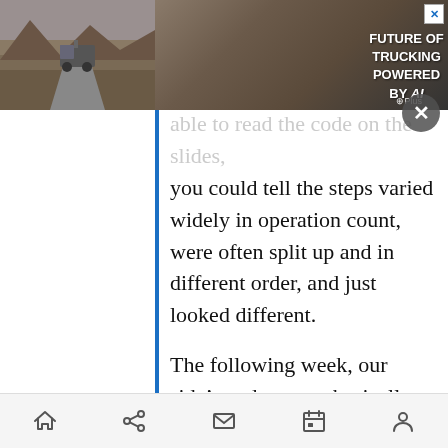[Figure (screenshot): Advertisement banner for 'Future of Trucking Powered by AI' with a truck image on a desert road background, with a close button (X) and G+Plus branding.]
able to read the code on the slides, you could tell the steps varied widely in operation count, were often split up and in different order, and just looked different.
The following week, our side's code expert basically just took the same slides their expert produced (the judge had to order them to be turned over) and blew each of them up across several slides so you could actually read them. I had hoped that would have demolished the credibility of the